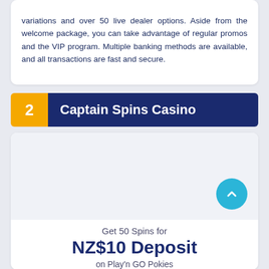variations and over 50 live dealer options. Aside from the welcome package, you can take advantage of regular promos and the VIP program. Multiple banking methods are available, and all transactions are fast and secure.
2  Captain Spins Casino
[Figure (other): Captain Spins Casino card with scroll-to-top button and promotional offer area]
Get 50 Spins for
NZ$10 Deposit
on Play'n GO Pokies